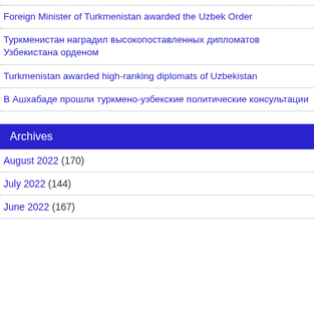Foreign Minister of Turkmenistan awarded the Uzbek Order
Туркменистан наградил высокопоставленных дипломатов Узбекистана орденом
Turkmenistan awarded high-ranking diplomats of Uzbekistan
В Ашхабаде прошли туркмено-узбекские политические консультации
Archives
August 2022 (170)
July 2022 (144)
June 2022 (167)